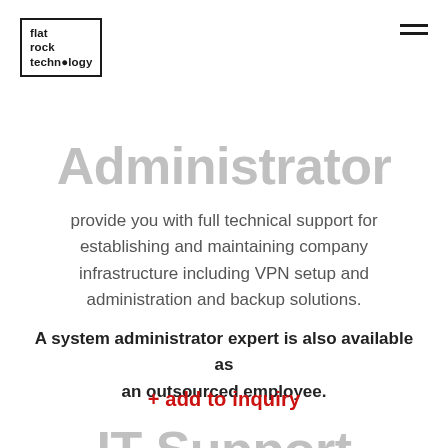flat rock technology
Administrator
provide you with full technical support for establishing and maintaining company infrastructure including VPN setup and administration and backup solutions.
A system administrator expert is also available as an outsourced employee.
+ add to inquiry
IT Support